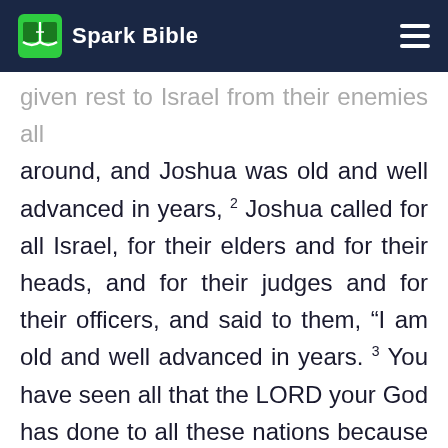Spark Bible
given rest to Israel from their enemies all around, and Joshua was old and well advanced in years, 2 Joshua called for all Israel, for their elders and for their heads, and for their judges and for their officers, and said to them, “I am old and well advanced in years. 3 You have seen all that the LORD your God has done to all these nations because of you; for it is the LORD your God who has fought for you. 4 Behold, I have allotted to you these